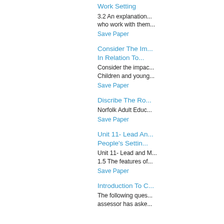Work Setting
3.2 An explanation... who work with them...
Save Paper
Consider The Im... In Relation To...
Consider the impac... Children and young...
Save Paper
Discribe The Ro...
Norfolk Adult Educ...
Save Paper
Unit 11- Lead An... People's Settin...
Unit 11- Lead and M... 1.5 The features of...
Save Paper
Introduction To C...
The following ques... assessor has aske...